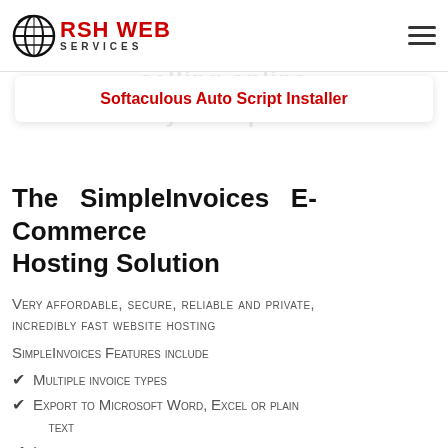RSH WEB SERVICES
Softaculous Auto Script Installer
The SimpleInvoices E-Commerce Hosting Solution
Very affordable, secure, reliable and private, incredibly fast website hosting
SimpleInvoices Features include
Multiple invoice types
Export to Microsoft Word, Excel or plain text
Invoice templates
Invoice preferences
Basic inventory support
High Speed SSD RAID-10 Storage
SEO Optimized